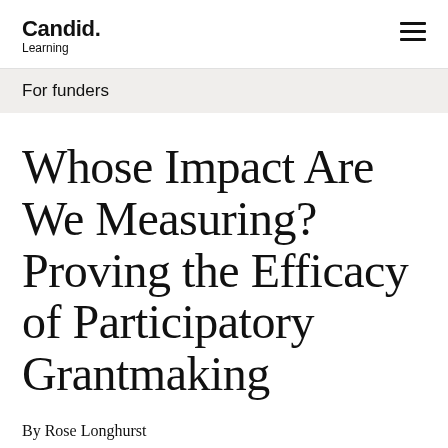Candid. Learning
For funders
Whose Impact Are We Measuring? Proving the Efficacy of Participatory Grantmaking
By Rose Longhurst